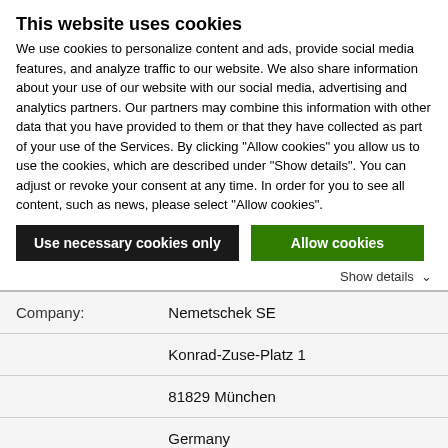This website uses cookies
We use cookies to personalize content and ads, provide social media features, and analyze traffic to our website. We also share information about your use of our website with our social media, advertising and analytics partners. Our partners may combine this information with other data that you have provided to them or that they have collected as part of your use of the Services. By clicking "Allow cookies" you allow us to use the cookies, which are described under "Show details". You can adjust or revoke your consent at any time. In order for you to see all content, such as news, please select "Allow cookies".
Use necessary cookies only
Allow cookies
Show details
|  |  |
| --- | --- |
| Company: | Nemetschek SE |
|  | Konrad-Zuse-Platz 1 |
|  | 81829 München |
|  | Germany |
| Internet: | www.nemetschek.com |